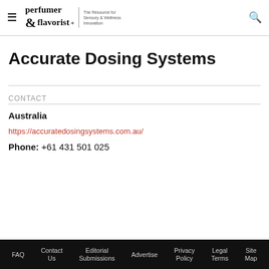perfumer & flavorist+ | The Resource for Sensory & Wellness Innovation
Accurate Dosing Systems
CONTACT
Australia
https://accuratedosingsystems.com.au/
Phone: +61 431 501 025
FAQ  Contact Us  Editorial Submissions  Advertise  Privacy Policy  Legal Terms  Site Map